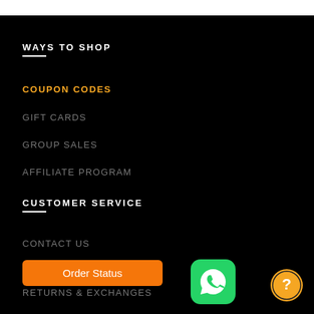WAYS TO SHOP
COUPON CODES
GIFT CARDS
GROUP SALES
AFFILIATE PROGRAM
CUSTOMER SERVICE
CONTACT US
SHIPPING & DELIVERY
RETURNS & EXCHANGES
Order Status
[Figure (logo): WhatsApp green icon with white chat bubble logo]
[Figure (other): Round orange help/question mark icon]